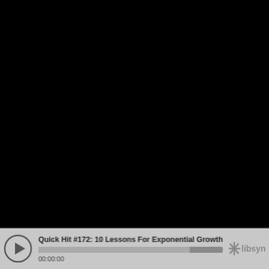[Figure (screenshot): Black video player area, completely black screen occupying the upper portion of the media player]
Quick Hit #172: 10 Lessons For Exponential Growth
00:00:00